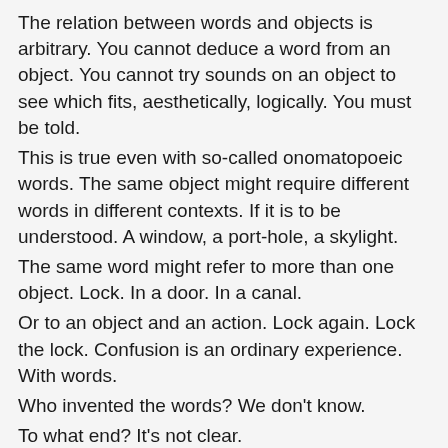The relation between words and objects is arbitrary. You cannot deduce a word from an object. You cannot try sounds on an object to see which fits, aesthetically, logically. You must be told.
This is true even with so-called onomatopoeic words. The same object might require different words in different contexts. If it is to be understood. A window, a port-hole, a skylight.
The same word might refer to more than one object. Lock. In a door. In a canal.
Or to an object and an action. Lock again. Lock the lock. Confusion is an ordinary experience. With words.
Who invented the words? We don't know.
To what end? It's not clear.
Words are useful when we want to prompt someone else to bring to mind an object.
I need a glass of water.
Where did you put my coat?